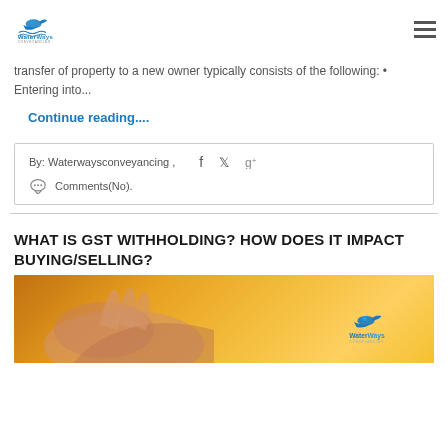WaterWays Conveyancing
transfer of property to a new owner typically consists of the following: • Entering into...
Continue reading....
By: Waterwaysconveyancing ,   Comments(No).
WHAT IS GST WITHHOLDING? HOW DOES IT IMPACT BUYING/SELLING?
[Figure (photo): Hero image with warm orange/yellow background showing hands, with WaterWays Conveyancing logo overlay]